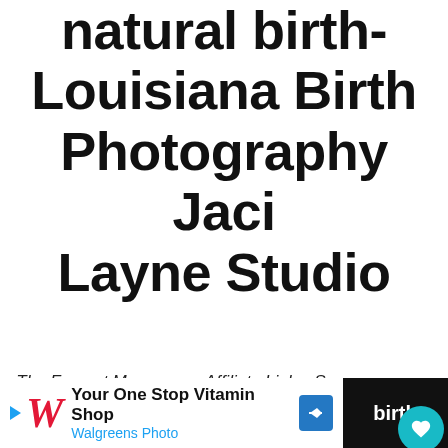natural birth- Louisiana Birth Photography Jaci Layne Studio
The Fervent Mama uses Affiliate Links. See our disclosure policy here.
[Figure (infographic): Social sharing bar with Facebook (82 shares), Twitter, Pinterest (31 saves), and share count widget showing 121 and 1 shares]
[Figure (infographic): Advertisement bar for Walgreens Photo: 'Your One Stop Vitamin Shop' with Walgreens Photo branding and navigation arrow. Right side shows partial dark background with text 'birth']